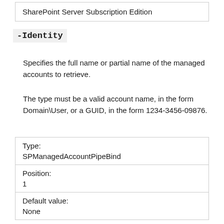| SharePoint Server Subscription Edition |
-Identity
Specifies the full name or partial name of the managed accounts to retrieve.
The type must be a valid account name, in the form Domain\User, or a GUID, in the form 1234-3456-09876.
| Type: | SPManagedAccountPipeBind |
| Position: | 1 |
| Default value: | None |